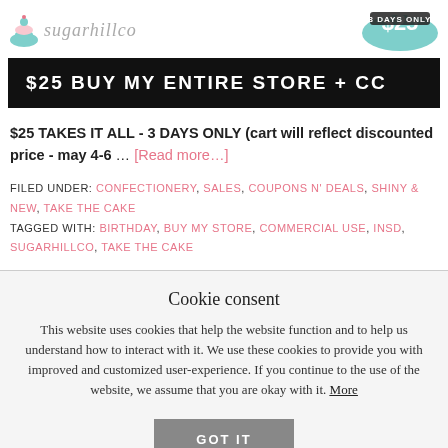[Figure (logo): Sugarhillco brand logo with cupcake icon and teal badge reading '3 DAYS ONLY']
$25 BUY MY ENTIRE STORE + CC
$25 TAKES IT ALL - 3 DAYS ONLY (cart will reflect discounted price - may 4-6 … [Read more…]
FILED UNDER: CONFECTIONERY, SALES, COUPONS N' DEALS, SHINY & NEW, TAKE THE CAKE
TAGGED WITH: BIRTHDAY, BUY MY STORE, COMMERCIAL USE, INSD, SUGARHILLCO, TAKE THE CAKE
Cookie consent
This website uses cookies that help the website function and to help us understand how to interact with it. We use these cookies to provide you with improved and customized user-experience. If you continue to the use of the website, we assume that you are okay with it. More
GOT IT